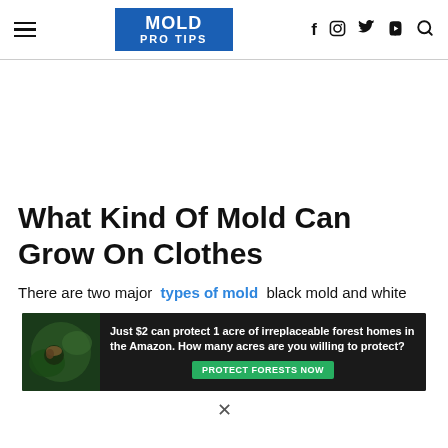MOLD PRO TIPS — navigation with social icons: f, Instagram, Twitter, YouTube, Search
What Kind Of Mold Can Grow On Clothes
There are two major types of mold black mold and white
[Figure (other): Advertisement banner: 'Just $2 can protect 1 acre of irreplaceable forest homes in the Amazon. How many acres are you willing to protect?' with a 'PROTECT FORESTS NOW' green button and a background of rainforest/animal imagery.]